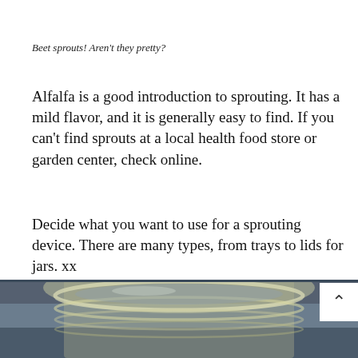Beet sprouts! Aren't they pretty?
Alfalfa is a good introduction to sprouting. It has a mild flavor, and it is generally easy to find. If you can't find sprouts at a local health food store or garden center, check online.
Decide what you want to use for a sprouting device. There are many types, from trays to lids for jars. xx
[Figure (photo): Close-up photo of the open top of a glass mason jar, showing the threaded rim, against a muted blue-grey background. A white navigation button with an upward caret (^) is overlaid in the upper right corner of the photo.]